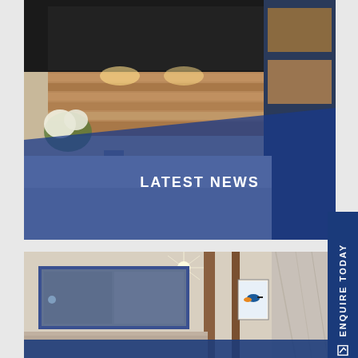[Figure (photo): Interior kitchen photo with dark cabinetry, warm wood backsplash with under-cabinet lighting, white countertops, flowers, and shelving unit to the right. A semi-transparent blue diagonal overlay covers the lower portion with 'LATEST NEWS' text centered on it.]
LATEST NEWS
ENQUIRE TODAY
[Figure (photo): Interior bedroom/bathroom photo showing a room with a large horizontal window with blue trim, wooden architectural columns, a framed bird (kingfisher) artwork on the wall, and marble-look wall tiles on the right. A blue bar overlay at the bottom of the image.]